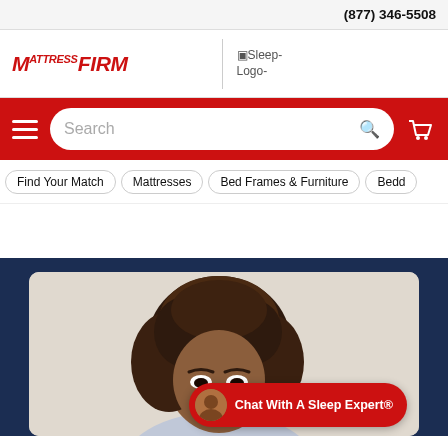(877) 346-5508
[Figure (logo): MattressFirm logo in red italic bold font]
Sleep-Logo-
[Figure (screenshot): Red navigation bar with hamburger menu, search box, and cart icon]
Find Your Match
Mattresses
Bed Frames & Furniture
Bedd
[Figure (photo): Person with curly dark hair looking up at camera, on cream background, with Chat With A Sleep Expert button overlay]
Chat With A Sleep Expert®